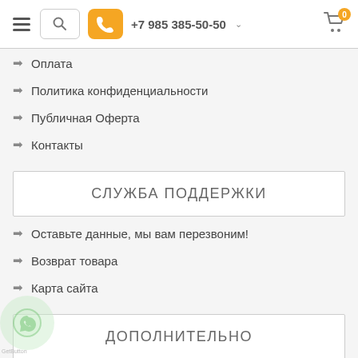+7 985 385-50-50
Оплата
Политика конфиденциальности
Публичная Оферта
Контакты
СЛУЖБА ПОДДЕРЖКИ
Оставьте данные, мы вам перезвоним!
Возврат товара
Карта сайта
ДОПОЛНИТЕЛЬНО
Производитель
Подарочные сертификаты